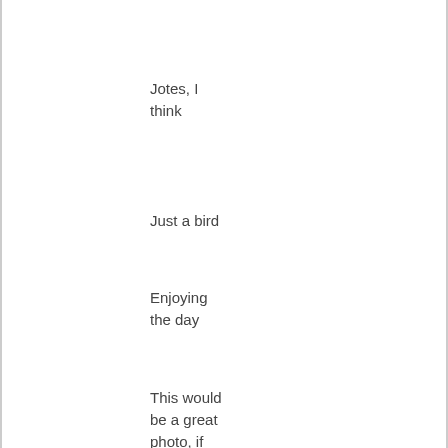Jotes, I think
Just a bird
Enjoying the day
This would be a great photo, if not for the chewing
Looking out for condors